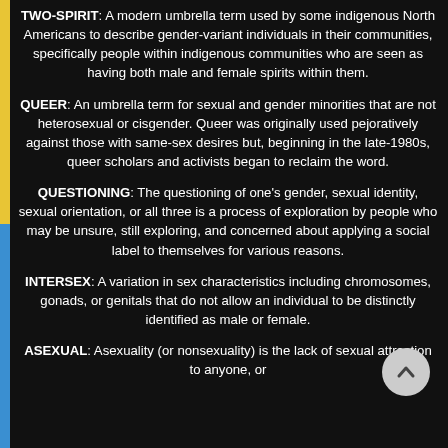TWO-SPIRIT: A modern umbrella term used by some indigenous North Americans to describe gender-variant individuals in their communities, specifically people within indigenous communities who are seen as having both male and female spirits within them.
QUEER: An umbrella term for sexual and gender minorities that are not heterosexual or cisgender. Queer was originally used pejoratively against those with same-sex desires but, beginning in the late-1980s, queer scholars and activists began to reclaim the word.
QUESTIONING: The questioning of one's gender, sexual identity, sexual orientation, or all three is a process of exploration by people who may be unsure, still exploring, and concerned about applying a social label to themselves for various reasons.
INTERSEX: A variation in sex characteristics including chromosomes, gonads, or genitals that do not allow an individual to be distinctly identified as male or female.
ASEXUAL: Asexuality (or nonsexuality) is the lack of sexual attraction to anyone, or